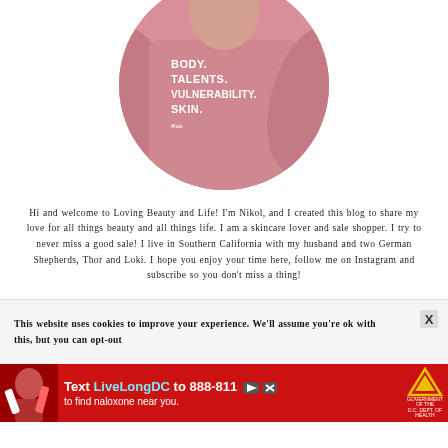[Figure (photo): Circular cropped photo of a person wearing a pink sweatshirt with white text reading: BODY. TALENTS. VULNERABILITY. SKIN.]
Hi and welcome to Loving Beauty and Life! I’m Nikol, and I created this blog to share my love for all things beauty and all things life. I am a skincare lover and sale shopper. I try to never miss a good sale! I live in Southern California with my husband and two German Shepherds, Thor and Loki. I hope you enjoy your time here, follow me on Instagram and subscribe so you don’t miss a thing!
This website uses cookies to improve your experience. We’ll assume you’re ok with this, but you can opt-out
[Figure (photo): Red advertisement banner: Text LiveLongDC to 888-811 to find naloxone near you. DCH logo. Play and close icons visible.]